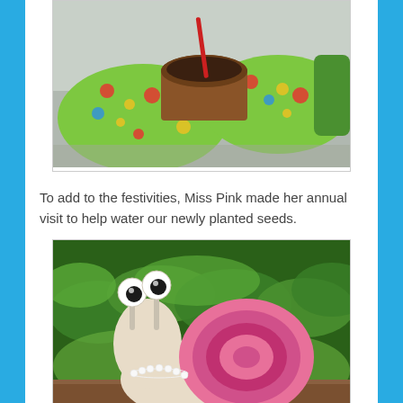[Figure (photo): Hands wearing colorful green gardening gloves with bug/bee/ladybug patterns, holding a small brown peat pot with soil and a red stick/pencil]
To add to the festivities, Miss Pink made her annual visit to help water our newly planted seeds.
[Figure (photo): A pink garden ornament snail (Miss Pink) with googly eyes and a pearl necklace, posed in front of green garden plants and a wooden border]